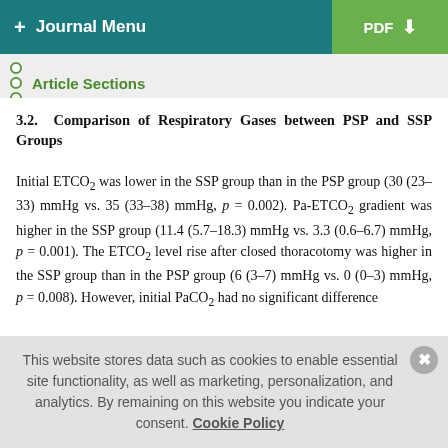+ Journal Menu   PDF ↓
Article Sections
3.2. Comparison of Respiratory Gases between PSP and SSP Groups
Initial ETCO₂ was lower in the SSP group than in the PSP group (30 (23–33) mmHg vs. 35 (33–38) mmHg, p = 0.002). Pa-ETCO₂ gradient was higher in the SSP group (11.4 (5.7–18.3) mmHg vs. 3.3 (0.6–6.7) mmHg, p = 0.001). The ETCO₂ level rise after closed thoracotomy was higher in the SSP group than in the PSP group (6 (3–7) mmHg vs. 0 (0–3) mmHg, p = 0.008). However, initial PaCO₂ had no significant difference between the two groups (Table 2).
This website stores data such as cookies to enable essential site functionality, as well as marketing, personalization, and analytics. By remaining on this website you indicate your consent. Cookie Policy